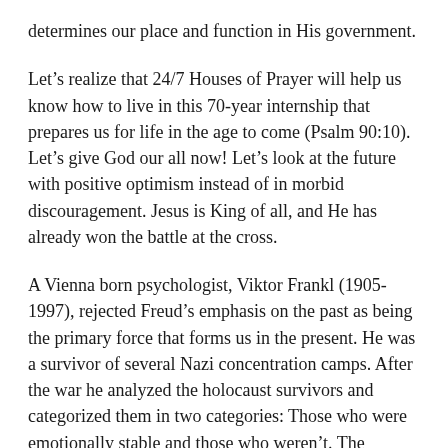determines our place and function in His government.
Let's realize that 24/7 Houses of Prayer will help us know how to live in this 70-year internship that prepares us for life in the age to come (Psalm 90:10). Let's give God our all now! Let's look at the future with positive optimism instead of in morbid discouragement. Jesus is King of all, and He has already won the battle at the cross.
A Vienna born psychologist, Viktor Frankl (1905-1997), rejected Freud's emphasis on the past as being the primary force that forms us in the present. He was a survivor of several Nazi concentration camps. After the war he analyzed the holocaust survivors and categorized them in two categories: Those who were emotionally stable and those who weren't. The predominant factor was not their experience before or doing the concentration camps. It was what they believed about their future!